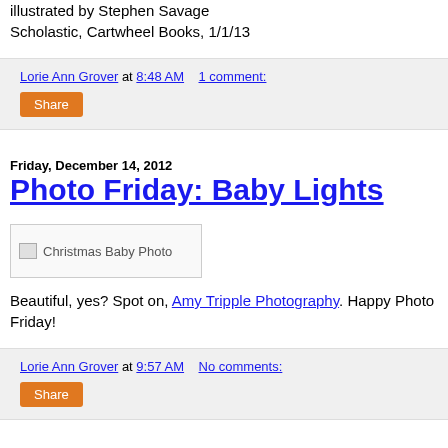illustrated by Stephen Savage
Scholastic, Cartwheel Books, 1/1/13
Lorie Ann Grover at 8:48 AM   1 comment:
Share
Friday, December 14, 2012
Photo Friday: Baby Lights
[Figure (photo): Christmas Baby Photo placeholder image]
Beautiful, yes? Spot on, Amy Tripple Photography. Happy Photo Friday!
Lorie Ann Grover at 9:57 AM   No comments:
Share